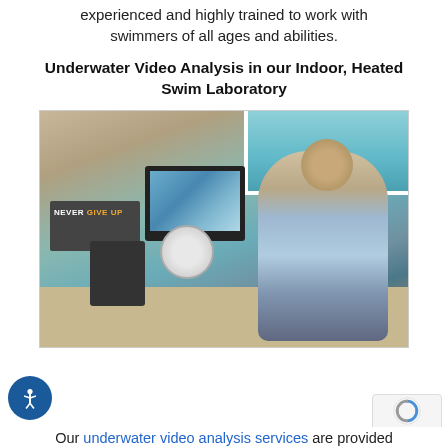experienced and highly trained to work with swimmers of all ages and abilities.
Underwater Video Analysis in our Indoor, Heated Swim Laboratory
[Figure (photo): A man in a light blue polo shirt pointing at an iMac computer screen showing underwater swimming footage, sitting at a desk with a 'NEVER GIVE UP' sign, a telephone, and a swimming cap on the desk. A pool is visible through a window in the background.]
Our underwater video analysis services are provided